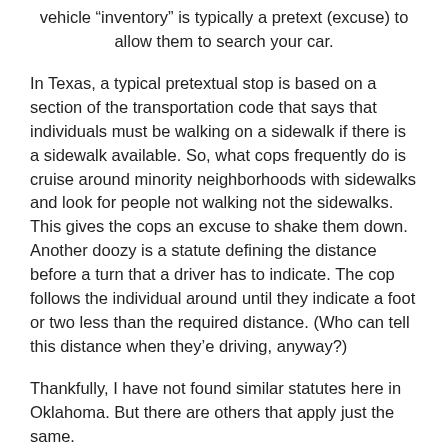vehicle “inventory” is typically a pretext (excuse) to allow them to search your car.
In Texas, a typical pretextual stop is based on a section of the transportation code that says that individuals must be walking on a sidewalk if there is a sidewalk available. So, what cops frequently do is cruise around minority neighborhoods with sidewalks and look for people not walking not the sidewalks. This gives the cops an excuse to shake them down. Another doozy is a statute defining the distance before a turn that a driver has to indicate. The cop follows the individual around until they indicate a foot or two less than the required distance. (Who can tell this distance when they’e driving, anyway?)
Thankfully, I have not found similar statutes here in Oklahoma. But there are others that apply just the same.